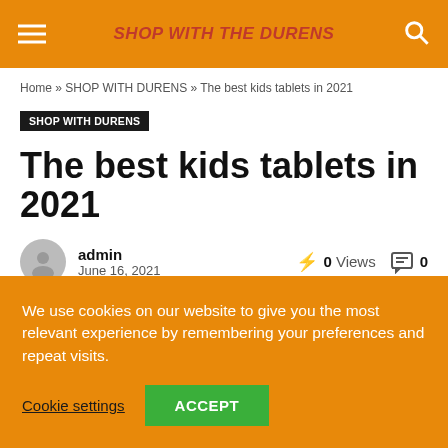SHOP WITH THE DURENS
Home » SHOP WITH DURENS » The best kids tablets in 2021
SHOP WITH DURENS
The best kids tablets in 2021
admin
June 16, 2021
0 Views
0
We use cookies on our website to give you the most relevant experience by remembering your preferences and repeat visits.
Cookie settings   ACCEPT